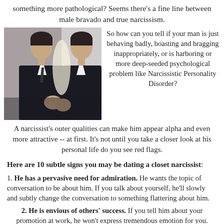something more pathological? Seems there's a fine line between male bravado and true narcissism.
[Figure (photo): A man looking at his reflection in a mirror, dressed in a suit and tie, in a close-up dramatic pose.]
So how can you tell if your man is just behaving badly, boasting and bragging inappropriately, or is harboring or more deep-seeded psychological problem like Narcissistic Personality Disorder?
A narcissist's outer qualities can make him appear alpha and even more attractive -- at first. It's not until you take a closer look at his personal life do you see red flags.
Here are 10 subtle signs you may be dating a closet narcissist:
1. He has a pervasive need for admiration. He wants the topic of conversation to be about him. If you talk about yourself, he'll slowly and subtly change the conversation to something flattering about him.
2. He is envious of others' success. If you tell him about your promotion at work, he won't express tremendous emotion for you.